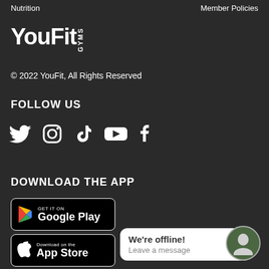Nutrition
Member Policies
[Figure (logo): YouFit Gyms logo in white text on dark background]
© 2022 YouFit, All Rights Reserved
FOLLOW US
[Figure (illustration): Social media icons: Twitter, Instagram, TikTok, YouTube, Facebook]
DOWNLOAD THE APP
[Figure (illustration): Google Play store download button]
[Figure (illustration): Apple App Store download button]
We're offline! Leave a message